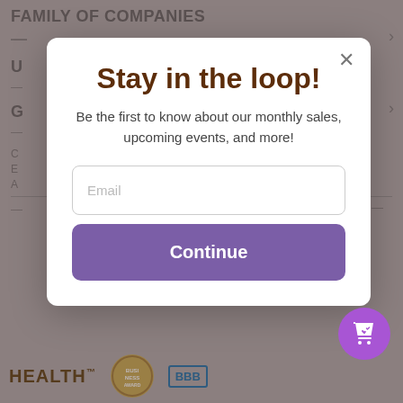[Figure (screenshot): Background dimmed website page showing partial text lines including 'FAMILY OF COMPANIES', 'U...', 'G...', navigation links, and footer with HEALTH logo, badge, and BBB badge]
Stay in the loop!
Be the first to know about our monthly sales, upcoming events, and more!
Email
Continue